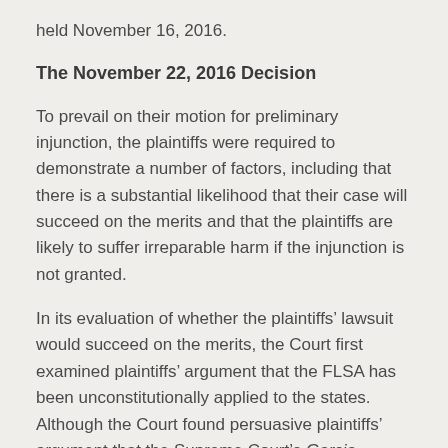held November 16, 2016.
The November 22, 2016 Decision
To prevail on their motion for preliminary injunction, the plaintiffs were required to demonstrate a number of factors, including that there is a substantial likelihood that their case will succeed on the merits and that the plaintiffs are likely to suffer irreparable harm if the injunction is not granted.
In its evaluation of whether the plaintiffs’ lawsuit would succeed on the merits, the Court first examined plaintiffs’ argument that the FLSA has been unconstitutionally applied to the states. Although the Court found persuasive plaintiffs’ argument that the Supreme Court’s Garcia decision